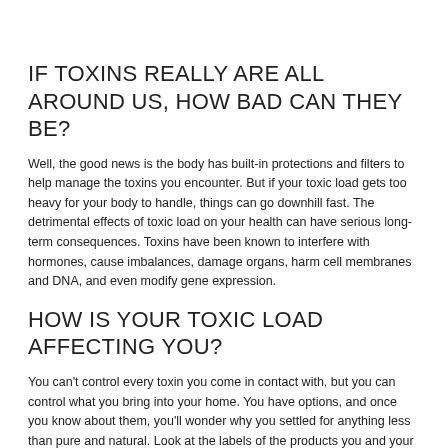IF TOXINS REALLY ARE ALL AROUND US, HOW BAD CAN THEY BE?
Well, the good news is the body has built-in protections and filters to help manage the toxins you encounter. But if your toxic load gets too heavy for your body to handle, things can go downhill fast. The detrimental effects of toxic load on your health can have serious long-term consequences. Toxins have been known to interfere with hormones, cause imbalances, damage organs, harm cell membranes and DNA, and even modify gene expression.
HOW IS YOUR TOXIC LOAD AFFECTING YOU?
You can't control every toxin you come in contact with, but you can control what you bring into your home. You have options, and once you know about them, you'll wonder why you settled for anything less than pure and natural. Look at the labels of the products you and your family use every day, and then decide if you'll put them in your body or in your garbage.